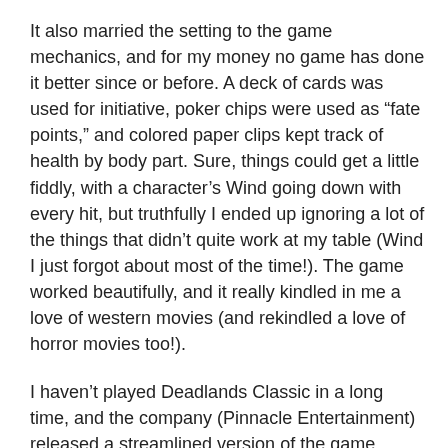It also married the setting to the game mechanics, and for my money no game has done it better since or before. A deck of cards was used for initiative, poker chips were used as “fate points,” and colored paper clips kept track of health by body part. Sure, things could get a little fiddly, with a character’s Wind going down with every hit, but truthfully I ended up ignoring a lot of the things that didn’t quite work at my table (Wind I just forgot about most of the time!). The game worked beautifully, and it really kindled in me a love of western movies (and rekindled a love of horror movies too!).
I haven’t played Deadlands Classic in a long time, and the company (Pinnacle Entertainment) released a streamlined version of the game called Savage Worlds in 2006 that I’ve been played a lot of over the the years. And Savage Worlds took a lot of the principles of KISS and applied them to the system as a whole, which works very well, but if I were to head back out on that ol’ dusty trail I think I would go back to